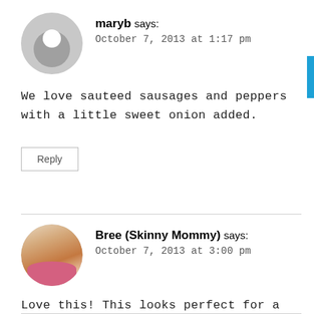[Figure (photo): Grey circle avatar placeholder for user maryb]
maryb says:
October 7, 2013 at 1:17 pm
We love sauteed sausages and peppers with a little sweet onion added.
Reply
[Figure (photo): Circular photo of Bree (Skinny Mommy), a blonde woman in pink]
Bree (Skinny Mommy) says:
October 7, 2013 at 3:00 pm
Love this! This looks perfect for a brunch 🙂